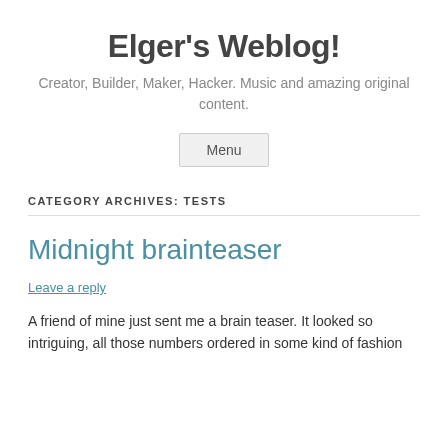Elger's Weblog!
Creator, Builder, Maker, Hacker. Music and amazing original content.
Menu
CATEGORY ARCHIVES: TESTS
Midnight brainteaser
Leave a reply
A friend of mine just sent me a brain teaser. It looked so intriguing, all those numbers ordered in some kind of fashion